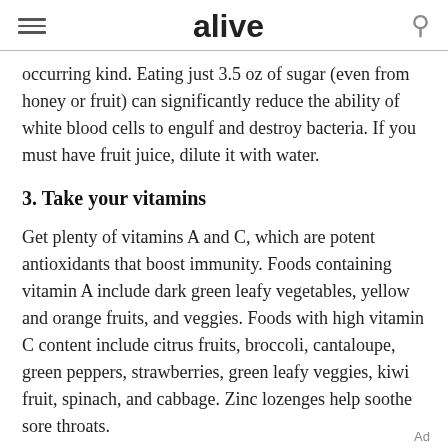alive
occurring kind. Eating just 3.5 oz of sugar (even from honey or fruit) can significantly reduce the ability of white blood cells to engulf and destroy bacteria. If you must have fruit juice, dilute it with water.
3. Take your vitamins
Get plenty of vitamins A and C, which are potent antioxidants that boost immunity. Foods containing vitamin A include dark green leafy vegetables, yellow and orange fruits, and veggies. Foods with high vitamin C content include citrus fruits, broccoli, cantaloupe, green peppers, strawberries, green leafy veggies, kiwi fruit, spinach, and cabbage. Zinc lozenges help soothe sore throats.
Ad